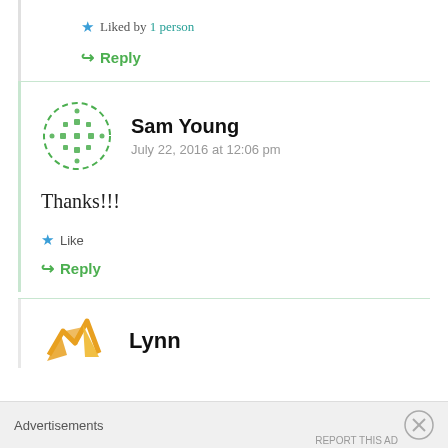Liked by 1 person
Reply
Sam Young
July 22, 2016 at 12:06 pm
Thanks!!!
Like
Reply
Lynn
Advertisements